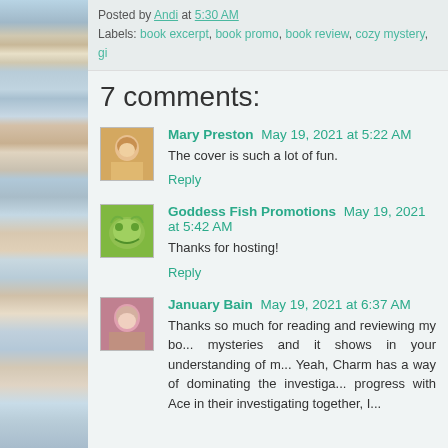Posted by Andi at 5:30 AM
Labels: book excerpt, book promo, book review, cozy mystery, gi...
7 comments:
Mary Preston  May 19, 2021 at 5:22 AM
The cover is such a lot of fun.
Reply
Goddess Fish Promotions  May 19, 2021 at 5:42 AM
Thanks for hosting!
Reply
January Bain  May 19, 2021 at 6:37 AM
Thanks so much for reading and reviewing my bo... mysteries and it shows in your understanding of m... Yeah, Charm has a way of dominating the investiga... progress with Ace in their investigating together, I...